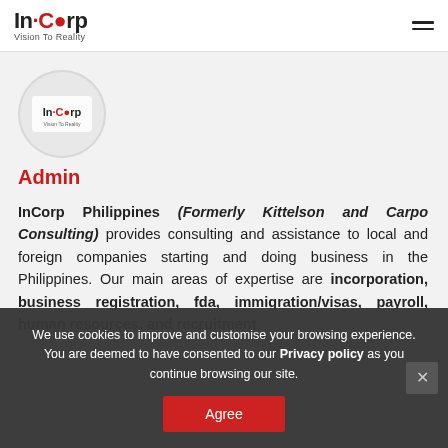InCorp Vision To Reality
[Figure (logo): InCorp Philippines circular logo with text 'In.Corp Vision To Reality']
Admin
InCorp Philippines (Formerly Kittelson and Carpo Consulting) provides consulting and assistance to local and foreign companies starting and doing business in the Philippines. Our main areas of expertise are incorporation, business registration, fda, immigration/visas, payroll, human resources, and recruitment.
We use cookies to improve and customise your browsing experience. You are deemed to have consented to our Privacy policy as you continue browsing our site.